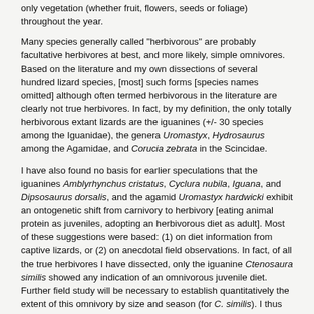only vegetation (whether fruit, flowers, seeds or foliage) throughout the year.
Many species generally called "herbivorous" are probably facultative herbivores at best, and more likely, simple omnivores. Based on the literature and my own dissections of several hundred lizard species, [most] such forms [species names omitted] although often termed herbivorous in the literature are clearly not true herbivores. In fact, by my definition, the only totally herbivorous extant lizards are the iguanines (+/- 30 species among the Iguanidae), the genera Uromastyx, Hydrosaurus among the Agamidae, and Corucia zebrata in the Scincidae.
I have also found no basis for earlier speculations that the iguanines Amblyrhynchus cristatus, Cyclura nubila, Iguana, and Dipsosaurus dorsalis, and the agamid Uromastyx hardwicki exhibit an ontogenetic shift from carnivory to herbivory [eating animal protein as juveniles, adopting an herbivorous diet as adult]. Most of these suggestions were based: (1) on diet information from captive lizards, or (2) on anecdotal field observations. In fact, of all the true herbivores I have dissected, only the iguanine Ctenosaura similis showed any indication of an omnivorous juvenile diet. Further field study will be necessary to establish quantitatively the extent of this omnivory by size and season (for C. similis). I thus conclude that an ontogenic shift from carnivory to herbivory is not usual in lizards truly herbivorous as adults, and further, that the documentation of such a transition (as appears to be the case for C. similis) will at best be the very rare exception rather than the rule.